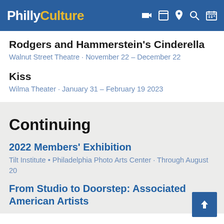PhillyCulture
Rodgers and Hammerstein's Cinderella
Walnut Street Theatre · November 22 – December 22
Kiss
Wilma Theater · January 31 – February 19 2023
Continuing
2022 Members' Exhibition
Tilt Institute • Philadelphia Photo Arts Center · Through August 20
From Studio to Doorstep: Associated American Artists